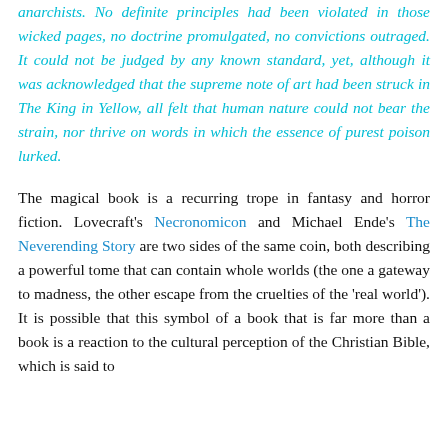anarchists. No definite principles had been violated in those wicked pages, no doctrine promulgated, no convictions outraged. It could not be judged by any known standard, yet, although it was acknowledged that the supreme note of art had been struck in The King in Yellow, all felt that human nature could not bear the strain, nor thrive on words in which the essence of purest poison lurked.
The magical book is a recurring trope in fantasy and horror fiction. Lovecraft's Necronomicon and Michael Ende's The Neverending Story are two sides of the same coin, both describing a powerful tome that can contain whole worlds (the one a gateway to madness, the other escape from the cruelties of the 'real world'). It is possible that this symbol of a book that is far more than a book is a reaction to the cultural perception of the Christian Bible, which is said to